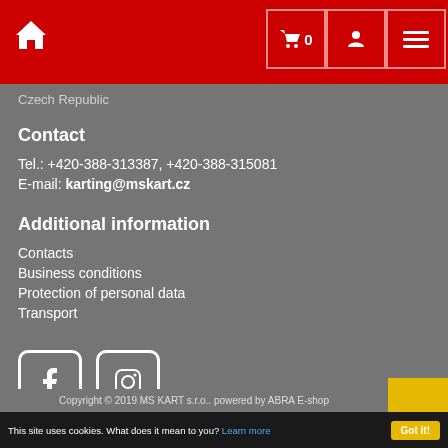MS KART website header with home icon, cart (0), user, and menu buttons
Czech Republic
Contact
Tel.: +420-388-313387, +420-388-315081
E-mail: karting@mskart.cz
Additional information
Contacts
Business conditions
Protection of personal data
Transport
[Figure (logo): Facebook and Instagram social media icons]
Copyright © 2019 MS KART s.r.o.. powered by ABRA E-shop
This site uses cookies. What does it mean to you? Learn more  Got it!